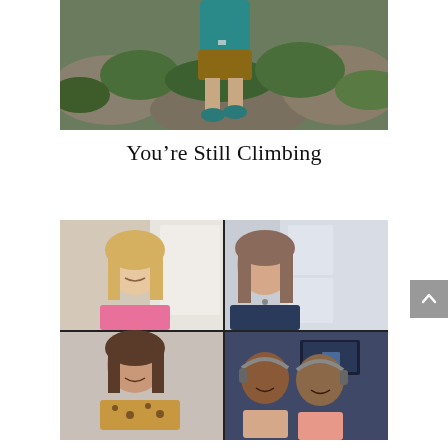[Figure (photo): Outdoor photo showing a person climbing or hiking on rocky terrain with vegetation, wearing teal top and shorts, viewed from above]
You're Still Climbing
[Figure (screenshot): Video call screenshot showing four participants in a 2x2 grid: top-left is a blonde woman in pink top, top-right is a woman with brown hair in dark top, bottom-left is a woman in leopard print top, bottom-right is a couple with headphones in a podcast setup]